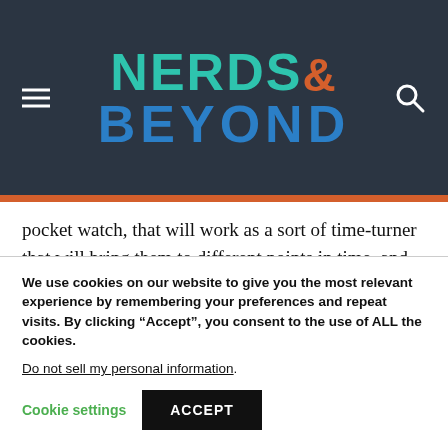NERDS& BEYOND
pocket watch, that will work as a sort of time-turner that will bring them to different points in time, and continues to show Sam the future.
Sam is brought to little snippets of the year 2021; driving in the Impala with Dean as they talk about
We use cookies on our website to give you the most relevant experience by remembering your preferences and repeat visits. By clicking “Accept”, you consent to the use of ALL the cookies.
Do not sell my personal information.
Cookie settings  ACCEPT